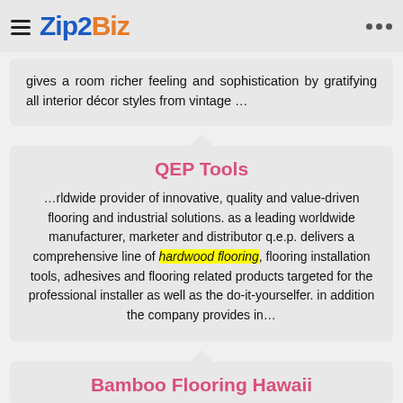Zip2Biz
gives a room richer feeling and sophistication by gratifying all interior décor styles from vintage …
QEP Tools
…rldwide provider of innovative, quality and value-driven flooring and industrial solutions. as a leading worldwide manufacturer, marketer and distributor q.e.p. delivers a comprehensive line of hardwood flooring, flooring installation tools, adhesives and flooring related products targeted for the professional installer as well as the do-it-yourselfer. in addition the company provides in…
Bamboo Flooring Hawaii